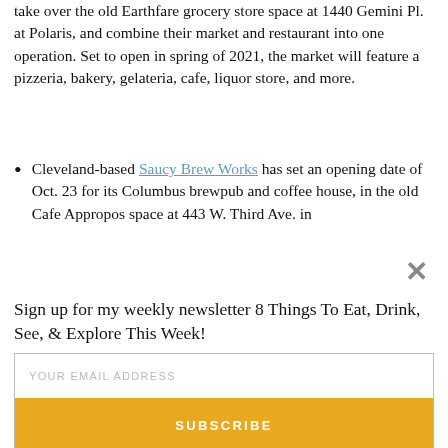take over the old Earthfare grocery store space at 1440 Gemini Pl. at Polaris, and combine their market and restaurant into one operation. Set to open in spring of 2021, the market will feature a pizzeria, bakery, gelateria, cafe, liquor store, and more.
Cleveland-based Saucy Brew Works has set an opening date of Oct. 23 for its Columbus brewpub and coffee house, in the old Cafe Appropos space at 443 W. Third Ave. in [text truncated]
Sign up for my weekly newsletter 8 Things To Eat, Drink, See, & Explore This Week!
YOUR EMAIL ADDRESS
SUBSCRIBE